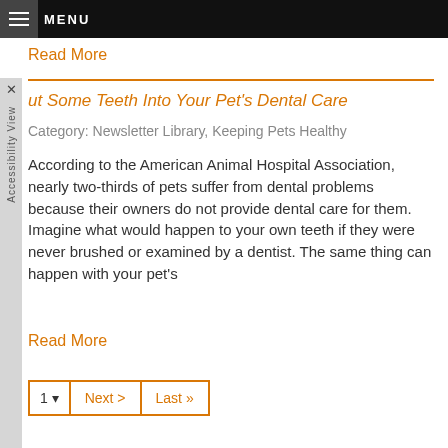MENU
Read More
ut Some Teeth Into Your Pet's Dental Care
Category: Newsletter Library, Keeping Pets Healthy
According to the American Animal Hospital Association, nearly two-thirds of pets suffer from dental problems because their owners do not provide dental care for them. Imagine what would happen to your own teeth if they were never brushed or examined by a dentist. The same thing can happen with your pet's
Read More
1  Next >  Last >>